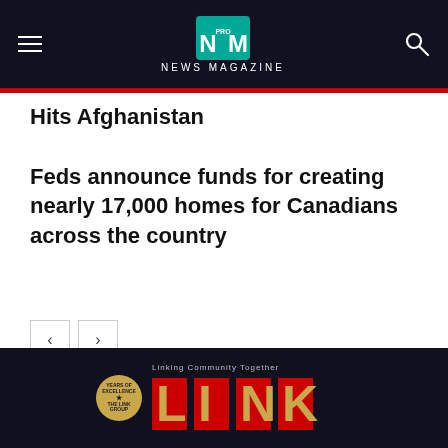NM PRO NEWS MAGAZINE
Hits Afghanistan
Feds announce funds for creating nearly 17,000 homes for Canadians across the country
[Figure (screenshot): Navigation arrows (back and forward) for a content carousel]
[Figure (logo): The Link Group logo with 'Linking Community Together' tagline and red block letters 'LINK' with gold globe graphic and years of excellence badge]